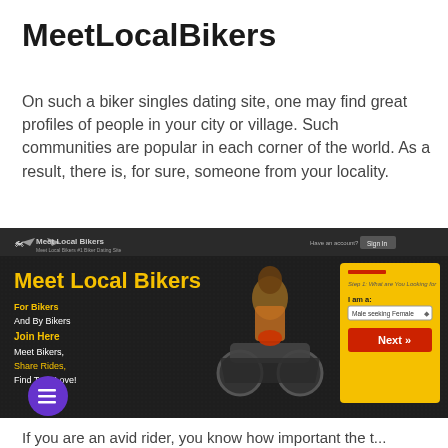MeetLocalBikers
On such a biker singles dating site, one may find great profiles of people in your city or village. Such communities are popular in each corner of the world. As a result, there is, for sure, someone from your locality.
[Figure (screenshot): Screenshot of MeetLocalBikers website showing the homepage with logo, navigation, 'Meet Local Bikers' heading in yellow, taglines about bikers, a woman on a motorcycle, and a registration form with 'Step 1: What are You Looking for', 'I am a: Male seeking Female' dropdown, and orange 'Next »' button on yellow background.]
If you are an avid rider, you know how important the t...